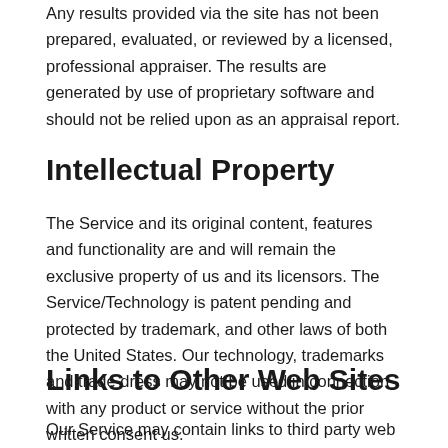Any results provided via the site has not been prepared, evaluated, or reviewed by a licensed, professional appraiser. The results are generated by use of proprietary software and should not be relied upon as an appraisal report.
Intellectual Property
The Service and its original content, features and functionality are and will remain the exclusive property of us and its licensors. The Service/Technology is patent pending and protected by trademark, and other laws of both the United States. Our technology, trademarks and trade dress may not be used in connection with any product or service without the prior written consent us.
Links to Other Web Sites
Our Service may contain links to third party web sites or services that are not owned or controlled by us.